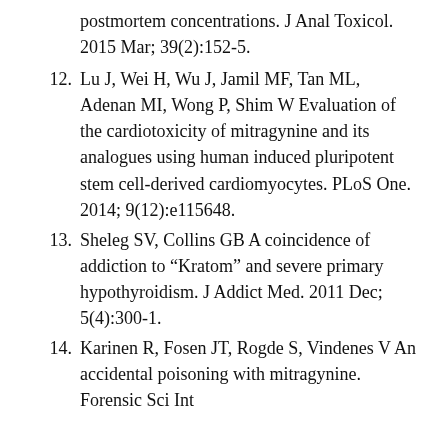postmortem concentrations. J Anal Toxicol. 2015 Mar; 39(2):152-5.
12. Lu J, Wei H, Wu J, Jamil MF, Tan ML, Adenan MI, Wong P, Shim W Evaluation of the cardiotoxicity of mitragynine and its analogues using human induced pluripotent stem cell-derived cardiomyocytes. PLoS One. 2014; 9(12):e115648.
13. Sheleg SV, Collins GB A coincidence of addiction to “Kratom” and severe primary hypothyroidism. J Addict Med. 2011 Dec; 5(4):300-1.
14. Karinen R, Fosen JT, Rogde S, Vindenes V An accidental poisoning with mitragynine. Forensic Sci Int